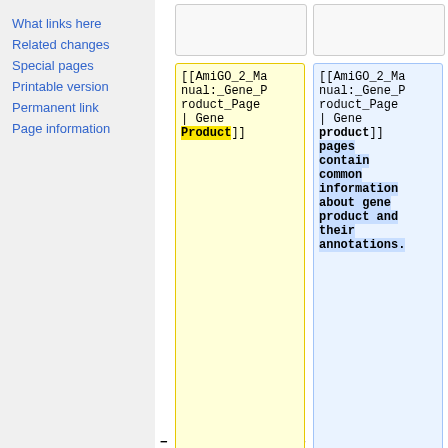What links here
Related changes
Special pages
Printable version
Permanent link
Page information
[Figure (screenshot): Diff view showing two versions of wiki markup. Left cell (yellow): [[AmiGO_2_Manual:_Gene_Product_Page | Gene Product]] with 'Product' highlighted. Right cell (blue): [[AmiGO_2_Manual:_Gene_Product_Page | Gene product]] pages contain common information about gene product and their annotations. with added text highlighted. Minus marker on left, plus marker on right. Below: gray boxes and == Grebe == heading rows.]
Revision as of 21:25, 9 July